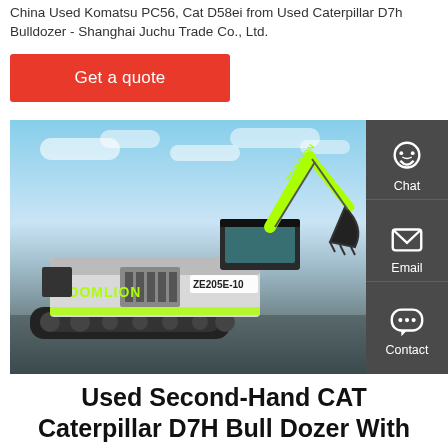China Used Komatsu PC56, Cat D58ei from Used Caterpillar D7h Bulldozer - Shanghai Juchu Trade Co., Ltd.
Get a quote
[Figure (photo): Zoomlion ZE205E-10 excavator on a construction site with blue sky background. A dark side panel with Chat, Email, and Contact icons is overlaid on the right side.]
Used Second-Hand CAT Caterpillar D7H Bull Dozer With